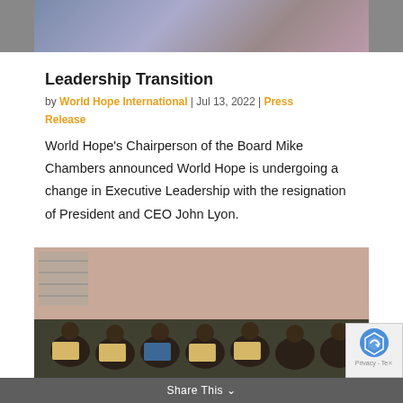[Figure (photo): Blurred photo at top of page, partially cropped, showing people in a dark/colorful setting]
Leadership Transition
by World Hope International | Jul 13, 2022 | Press Release
World Hope's Chairperson of the Board Mike Chambers announced World Hope is undergoing a change in Executive Leadership with the resignation of President and CEO John Lyon.
[Figure (photo): Photo of students or people seated at computers in a classroom with a pink wall]
Share This